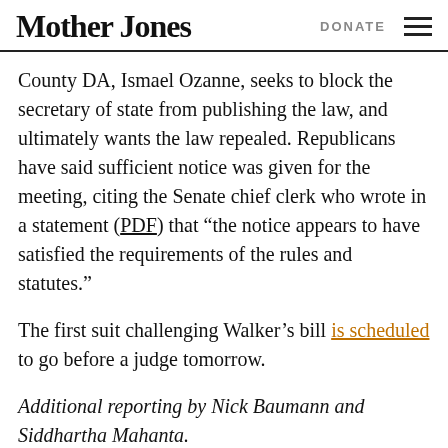Mother Jones  DONATE
County DA, Ismael Ozanne, seeks to block the secretary of state from publishing the law, and ultimately wants the law repealed. Republicans have said sufficient notice was given for the meeting, citing the Senate chief clerk who wrote in a statement (PDF) that “the notice appears to have satisfied the requirements of the rules and statutes.”
The first suit challenging Walker’s bill is scheduled to go before a judge tomorrow.
Additional reporting by Nick Baumann and Siddhartha Mahanta.
FACT: